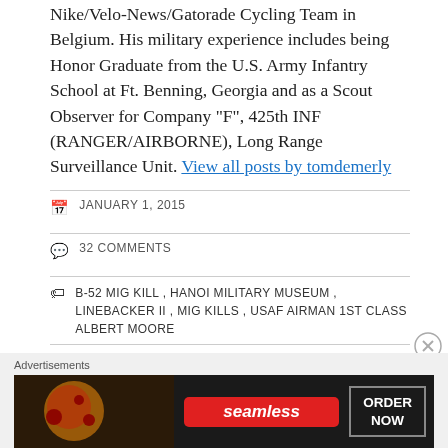Nike/Velo-News/Gatorade Cycling Team in Belgium. His military experience includes being Honor Graduate from the U.S. Army Infantry School at Ft. Benning, Georgia and as a Scout Observer for Company "F", 425th INF (RANGER/AIRBORNE), Long Range Surveillance Unit. View all posts by tomdemerly
JANUARY 1, 2015
32 COMMENTS
B-52 MIG KILL , HANOI MILITARY MUSEUM , LINEBACKER II , MIG KILLS , USAF AIRMAN 1ST CLASS ALBERT MOORE
SHARE THIS:
[Figure (infographic): Social share buttons: Facebook (blue circle), Twitter (blue circle), LinkedIn (dark blue circle), Email (gray circle), Print (gray circle), Reddit (light blue circle), More button]
[Figure (infographic): Seamless food delivery advertisement banner with pizza image, Seamless logo in red, and ORDER NOW button]